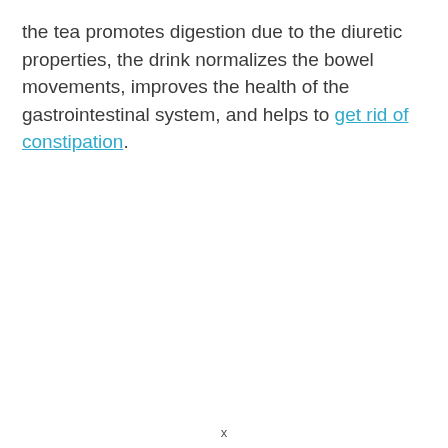the tea promotes digestion due to the diuretic properties, the drink normalizes the bowel movements, improves the health of the gastrointestinal system, and helps to get rid of constipation.
x